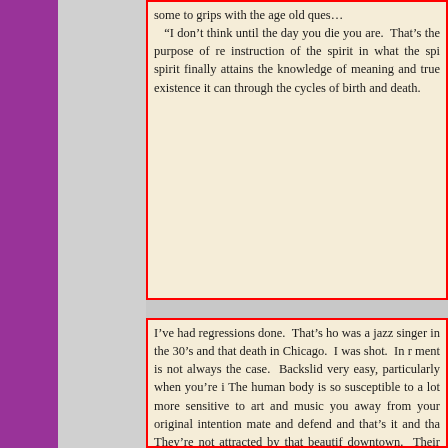some to grips with the age old ques... "I don't think until the day you die you are. That's the purpose of re instruction of the spirit in what the spi spirit finally attains the knowledge of meaning and true existence it can through the cycles of birth and death.
I've had regressions done. That's ho was a jazz singer in the 30's and that death in Chicago. I was shot. In r ment is not always the case. Backslid very easy, particularly when you're i The human body is so susceptible to a lot more sensitive to art and music you away from your original intention mate and defend and that's it and tha They're not attracted by that beautif downtown. Their master might be l care whether it was rhinestone or leat he wouldn't have it on at all because able. "Oh doesn't he look nice, he's collar and then the second you turn muzzle, wrapped around himself. He